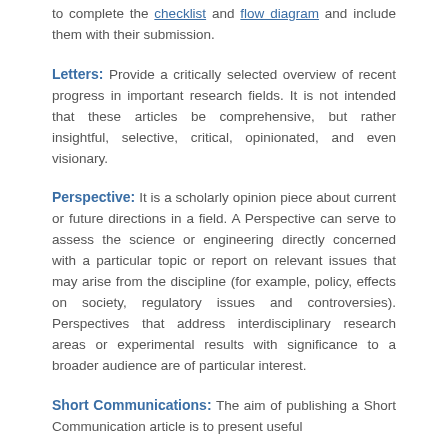to complete the checklist and flow diagram and include them with their submission.
Letters: Provide a critically selected overview of recent progress in important research fields. It is not intended that these articles be comprehensive, but rather insightful, selective, critical, opinionated, and even visionary.
Perspective: It is a scholarly opinion piece about current or future directions in a field. A Perspective can serve to assess the science or engineering directly concerned with a particular topic or report on relevant issues that may arise from the discipline (for example, policy, effects on society, regulatory issues and controversies). Perspectives that address interdisciplinary research areas or experimental results with significance to a broader audience are of particular interest.
Short Communications: The aim of publishing a Short Communication article is to present useful...